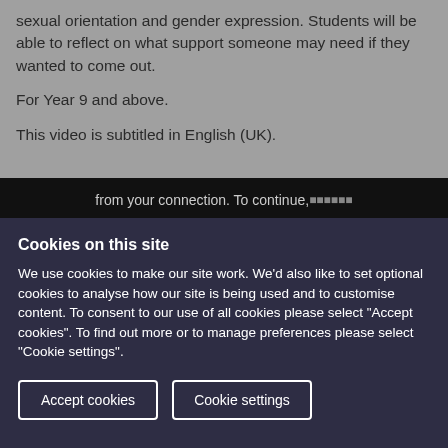sexual orientation and gender expression. Students will be able to reflect on what support someone may need if they wanted to come out.
For Year 9 and above.
This video is subtitled in English (UK).
[Figure (screenshot): Partial video player showing text: 'from your connection. To continue, ...']
Cookies on this site
We use cookies to make our site work. We'd also like to set optional cookies to analyse how our site is being used and to customise content. To consent to our use of all cookies please select "Accept cookies". To find out more or to manage preferences please select "Cookie settings".